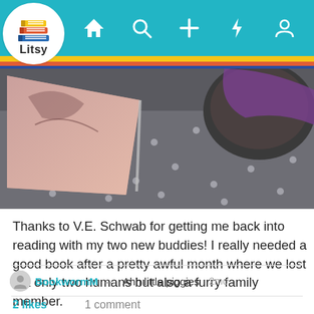[Figure (screenshot): Litsy app navigation bar with teal background, Litsy logo on white circle, and nav icons (home, search, plus, lightning, profile)]
[Figure (photo): Photo of an open book with illustrated pages resting on gray polka-dot fabric, with colorful items in background]
Thanks to V.E. Schwab for getting me back into reading with my two new buddies! I really needed a good book after a pretty awful month where we lost not only two humans but also a furry family member.
BookwormM — Ahh little piggies  2mo
2 likes    1 comment